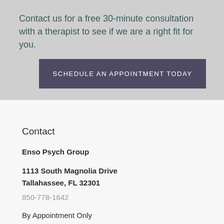Contact us for a free 30-minute consultation with a therapist to see if we are a right fit for you.
SCHEDULE AN APPOINTMENT TODAY
Contact
Enso Psych Group
1113 South Magnolia Drive
Tallahassee, FL 32301
850-778-1642
By Appointment Only